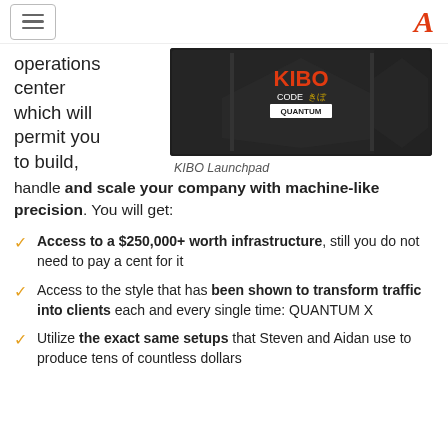[hamburger menu] [A logo]
operations center which will permit you to build,
[Figure (photo): KIBO Code Quantum product box image]
KIBO Launchpad
handle and scale your company with machine-like precision. You will get:
Access to a $250,000+ worth infrastructure, still you do not need to pay a cent for it
Access to the style that has been shown to transform traffic into clients each and every single time: QUANTUM X
Utilize the exact same setups that Steven and Aidan use to produce tens of countless dollars